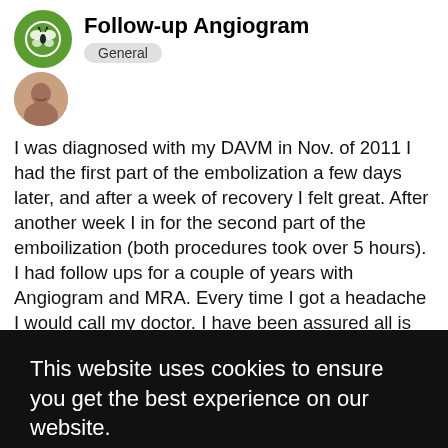Follow-up Angiogram
General
I was diagnosed with my DAVM in Nov. of 2011 I had the first part of the embolization a few days later, and after a week of recovery I felt great. After another week I in for the second part of the emboilization (both procedures took over 5 hours). I had follow ups for a couple of years with Angiogram and MRA. Every time I got a headache I would call my doctor. I have been assured all is cleared after the last MRA. In Feb. 2014 I had a concussion. I was checked and again given the all clear. Some text continues but is partially obscured.
This website uses cookies to ensure you get the best experience on our website.
Learn more
Got it!